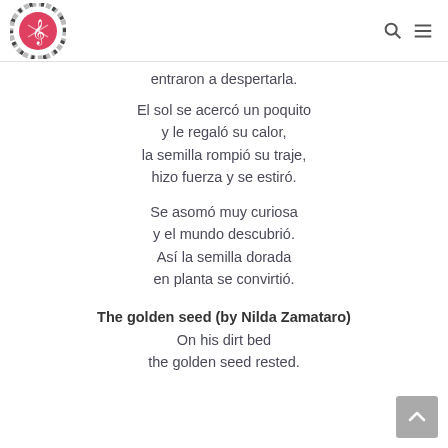[Logo: music note site] [search icon] [menu icon]
entraron a despertarla.
El sol se acercó un poquito
y le regaló su calor,
la semilla rompió su traje,
hizo fuerza y se estiró.
Se asomó muy curiosa
y el mundo descubrió.
Así la semilla dorada
en planta se convirtió.
The golden seed (by Nilda Zamataro)
On his dirt bed
the golden seed rested.